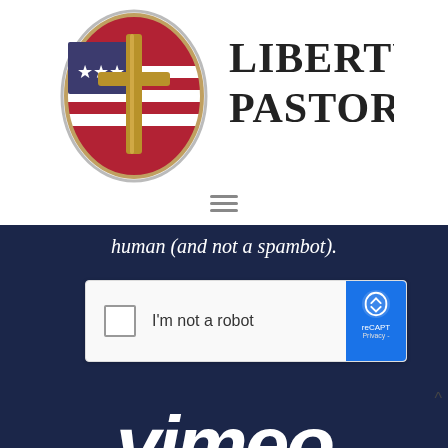[Figure (logo): Liberty Pastors logo: oval badge with cross and American flag, next to text 'Liberty Pastors' in serif font]
[Figure (screenshot): Vimeo video player with reCAPTCHA overlay saying 'I'm not a robot', dark navy background with Vimeo logo text]
Florida Session 18 - Paul Blair & Dan Fisher - Next Steps
More Messages from Various
From Series: "2021 Crossroads